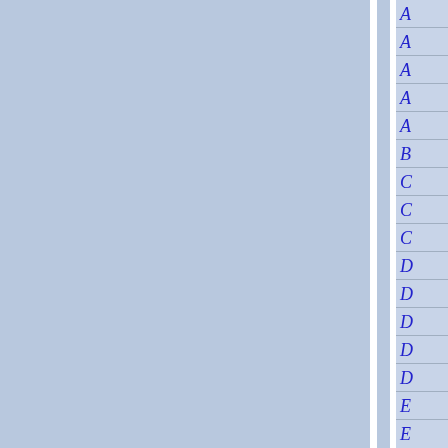[Figure (other): Page layout with two blue-gray panels separated by a white vertical divider on the left portion, and a narrow right sidebar with italic blue letters A, A, A, A, A, B, C, C, C, D, D, D, D, D, E, E in rows separated by horizontal lines.]